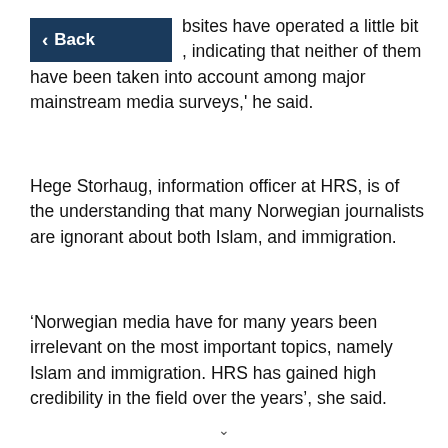Back
bsites have operated a little bit indicating that neither of them have been taken into account among major mainstream media surveys,' he said.
Hege Storhaug, information officer at HRS, is of the understanding that many Norwegian journalists are ignorant about both Islam, and immigration.
‘Norwegian media have for many years been irrelevant on the most important topics, namely Islam and immigration. HRS has gained high credibility in the field over the years’, she said.